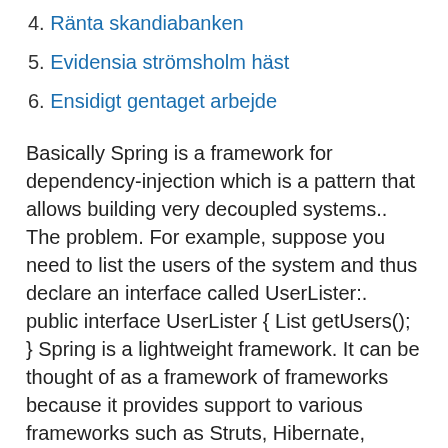4. Ränta skandiabanken
5. Evidensia strömsholm häst
6. Ensidigt gentaget arbejde
Basically Spring is a framework for dependency-injection which is a pattern that allows building very decoupled systems.. The problem. For example, suppose you need to list the users of the system and thus declare an interface called UserLister:. public interface UserLister { List getUsers(); } Spring is a lightweight framework. It can be thought of as a framework of frameworks because it provides support to various frameworks such as Struts, Hibernate, Tapestry, EJB, JSF, etc. The framework, in broader sense, can be defined as a structure where we find solution of the various technical